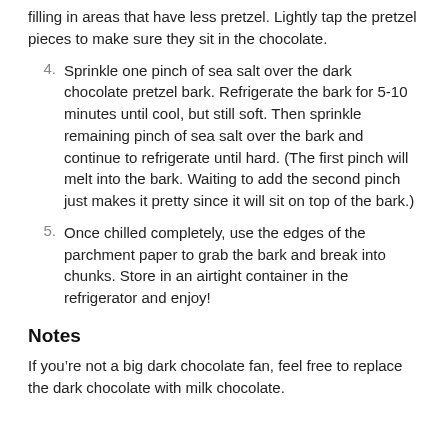filling in areas that have less pretzel. Lightly tap the pretzel pieces to make sure they sit in the chocolate.
4. Sprinkle one pinch of sea salt over the dark chocolate pretzel bark. Refrigerate the bark for 5-10 minutes until cool, but still soft. Then sprinkle remaining pinch of sea salt over the bark and continue to refrigerate until hard. (The first pinch will melt into the bark. Waiting to add the second pinch just makes it pretty since it will sit on top of the bark.)
5. Once chilled completely, use the edges of the parchment paper to grab the bark and break into chunks. Store in an airtight container in the refrigerator and enjoy!
Notes
If you’re not a big dark chocolate fan, feel free to replace the dark chocolate with milk chocolate.